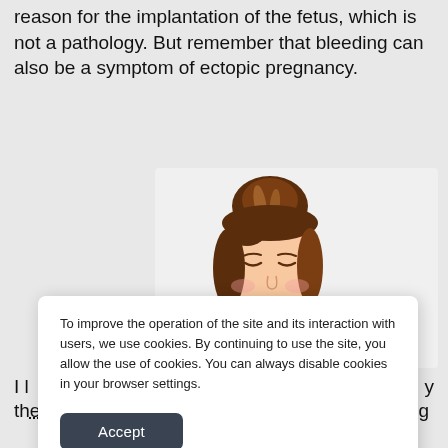reason for the implantation of the fetus, which is not a pathology. But remember that bleeding can also be a symptom of ectopic pregnancy.
[Figure (illustration): Illustration of a woman with brown hair in a bun, looking downward with a pained or nauseous expression, shown from the shoulders up against a light background.]
To improve the operation of the site and its interaction with users, we use cookies. By continuing to use the site, you allow the use of cookies. You can always disable cookies in your browser settings.
Accept
I l...y th...question of what to do if stomach hurts during...